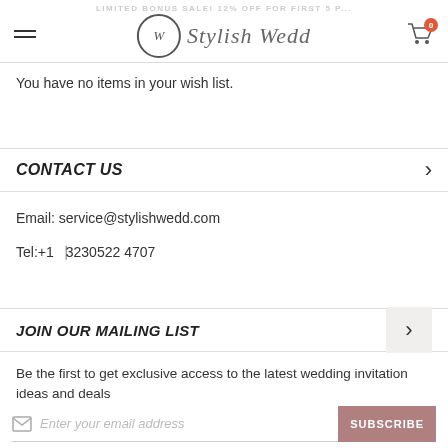LIMITED BONUS SALE! 12% OFF FOR FIRST 5 P...
[Figure (logo): Stylish Wedd logo with circular W monogram]
You have no items in your wish list.
CONTACT US
Email: service@stylishwedd.com
Tel:+1⎹3230522 4707
JOIN OUR MAILING LIST
Be the first to get exclusive access to the latest wedding invitation ideas and deals